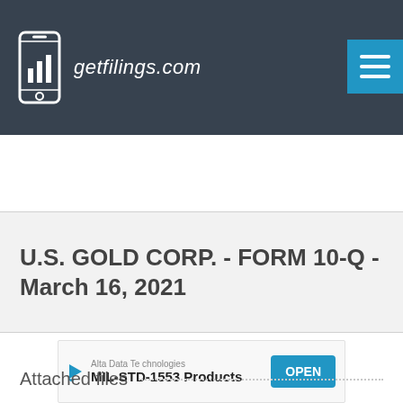[Figure (logo): getfilings.com logo with smartphone icon and bar chart, white on dark gray navbar background]
U.S. GOLD CORP. - FORM 10-Q - March 16, 2021
[Figure (other): Advertisement banner: Alta Data Technologies - MIL-STD-1553 Products - OPEN button]
Attached files